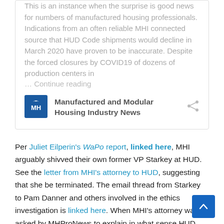This is an instance when the surprise is good news for numbers of manufactured housing professionals. Indications from an often reliable MHI connected source that HUD Code shipments would decline in March 2020 have proven to be inaccurate. Despite the forced closures by COVID19 of dozens of production centers in ...
Continue reading
[Figure (logo): MHI logo — blue square with white bird/dove and letters MH]
Manufactured and Modular Housing Industry News
Per Juliet Eilperin's WaPo report, linked here, MHI arguably shivved their own former VP Starkey at HUD. See the letter from MHI's attorney to HUD, suggesting that she be terminated. The email thread from Starkey to Pam Danner and others involved in the ethics investigation is linked here. When MHI's attorney was asked by MHProNews to explain in what sense HUD was MH"client," as of press time, their outside attorneys have not yet